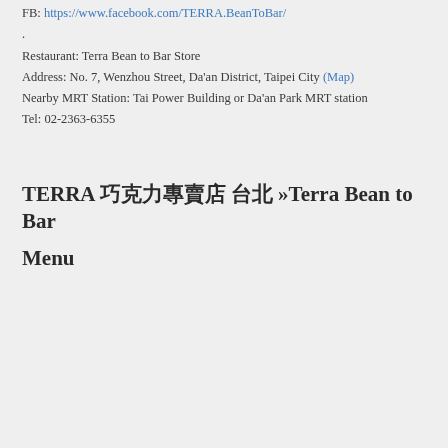FB: https://www.facebook.com/TERRA.BeanToBar/
.
Restaurant: Terra Bean to Bar Store
Address: No. 7, Wenzhou Street, Da'an District, Taipei City (Map)
Nearby MRT Station: Tai Power Building or Da'an Park MRT station
Tel: 02-2363-6355
TERRA 巧克力專賣店 台北 »Terra Bean to Bar Menu